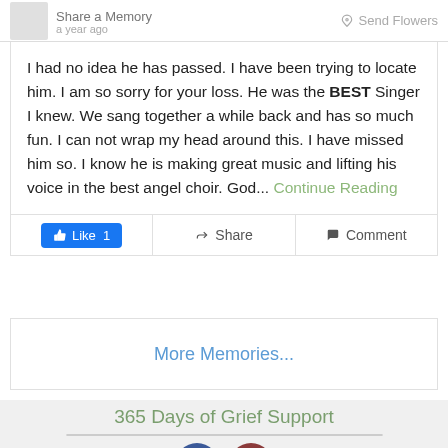Share a Memory  a year ago  |  Send Flowers
I had no idea he has passed. I have been trying to locate him. I am so sorry for your loss. He was the BEST Singer I knew. We sang together a while back and has so much fun. I can not wrap my head around this. I have missed him so. I know he is making great music and lifting his voice in the best angel choir. God... Continue Reading
Like 1  |  Share  |  Comment
More Memories...
365 Days of Grief Support
Email Address  Subscribe
[Figure (other): Facebook and Instagram social media icon circles at the bottom of the page]